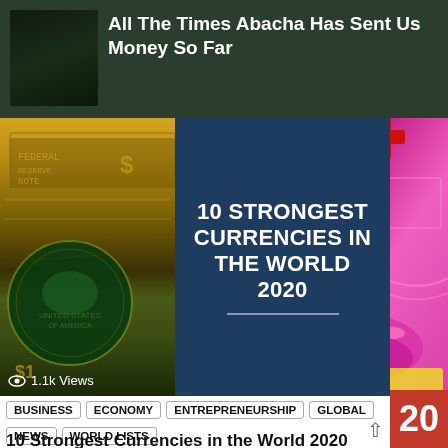All The Times Abacha Has Sent Us Money So Far
[Figure (photo): Composite image: US dollar bills on left, Swiss franc currency on right, dark blue panel in center with bold white text reading '10 STRONGEST CURRENCIES IN THE WORLD 2020' and a horizontal line below. Views badge shows 1.1k Views at bottom left.]
BUSINESS   ECONOMY   ENTREPRENEURSHIP   GLOBAL
NEWS   WORLD LISTS
10 Strongest Currencies in the World 2020